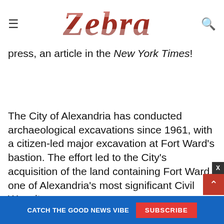Zebra
at Potomac Yards, which displayed how wooden ships were used to create land. These discoveries generated, among other press, an article in the New York Times!
The City of Alexandria has conducted archaeological excavations since 1961, with a citizen-led major excavation at Fort Ward's bastion. The effort led to the City's acquisition of the land containing Fort Ward, one of Alexandria's most significant Civil War sites.
A few years later when major urban renewal in Old Town threatened wells and privies associated with early Alexandria, citizens received grant funding from the Smithsonian Institution to conduct rescue excavations. La...
CATCH THE GOOD NEWS VIBE  SUBSCRIBE